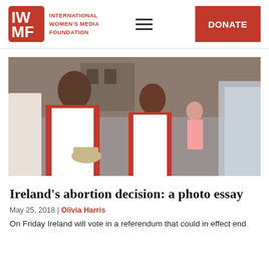International Women's Media Foundation — DONATE
[Figure (photo): Girls dressed in white communion dresses with red capes, carrying baskets, participating in a religious procession on a street in Ireland.]
Ireland's abortion decision: a photo essay
May 25, 2018 | Olivia Harris
On Friday Ireland will vote in a referendum that could in effect end